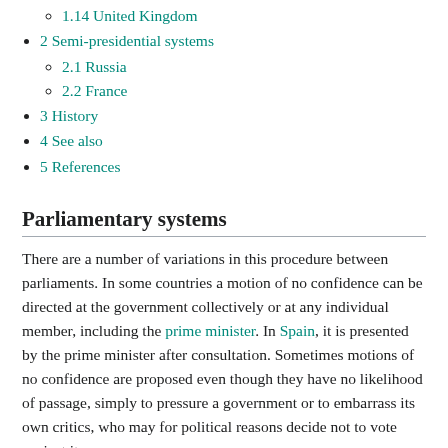1.14 United Kingdom
2 Semi-presidential systems
2.1 Russia
2.2 France
3 History
4 See also
5 References
Parliamentary systems
There are a number of variations in this procedure between parliaments. In some countries a motion of no confidence can be directed at the government collectively or at any individual member, including the prime minister. In Spain, it is presented by the prime minister after consultation. Sometimes motions of no confidence are proposed even though they have no likelihood of passage, simply to pressure a government or to embarrass its own critics, who may for political reasons decide not to vote against it.
In many parliamentary democracies, there are strict time limits for no confidence motions: they may only be allowed once every three, four or six months. Thus, the timing of a motion of no confidence is a matter of political judgement; a motion of no confidence on a relatively trivial matter may prove